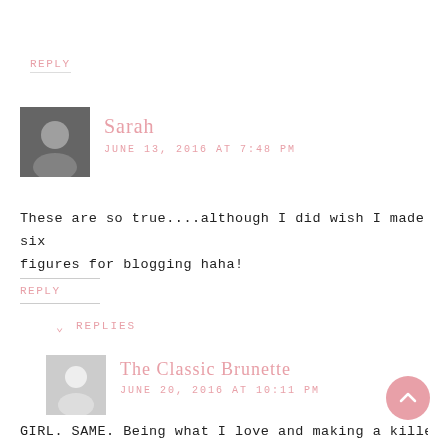REPLY
Sarah
JUNE 13, 2016 AT 7:48 PM
These are so true....although I did wish I made six figures for blogging haha!
REPLY
↓ REPLIES
The Classic Brunette
JUNE 20, 2016 AT 10:11 PM
GIRL. SAME. Being what I love and making a killer